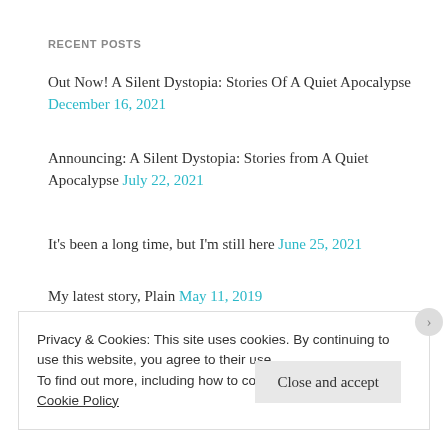RECENT POSTS
Out Now! A Silent Dystopia: Stories Of A Quiet Apocalypse December 16, 2021
Announcing: A Silent Dystopia: Stories from A Quiet Apocalypse July 22, 2021
It's been a long time, but I'm still here June 25, 2021
My latest story, Plain May 11, 2019
eComEngine Blog: Get to Know the Amazon Vine Program June 16, 2017
Privacy & Cookies: This site uses cookies. By continuing to use this website, you agree to their use.
To find out more, including how to control cookies, see here: Cookie Policy
Close and accept